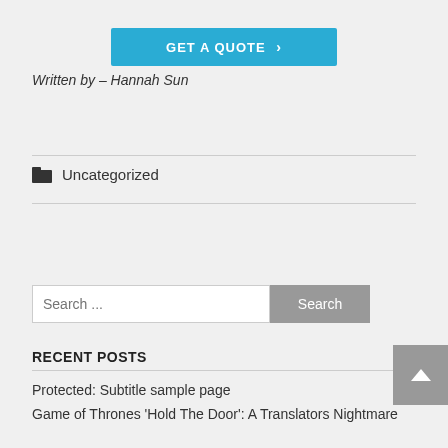[Figure (other): Blue 'GET A QUOTE >' button]
Written by – Hannah Sun
Uncategorized
Search ...
RECENT POSTS
Protected: Subtitle sample page
Game of Thrones 'Hold The Door': A Translators Nightmare